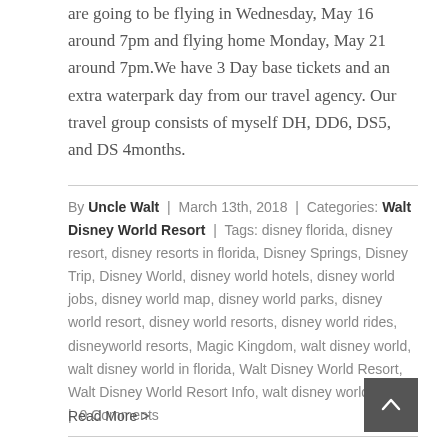are going to be flying in Wednesday, May 16 around 7pm and flying home Monday, May 21 around 7pm.We have 3 Day base tickets and an extra waterpark day from our travel agency. Our travel group consists of myself DH, DD6, DS5, and DS 4months.
By Uncle Walt | March 13th, 2018 | Categories: Walt Disney World Resort | Tags: disney florida, disney resort, disney resorts in florida, Disney Springs, Disney Trip, Disney World, disney world hotels, disney world jobs, disney world map, disney world parks, disney world resort, disney world resorts, disney world rides, disneyworld resorts, Magic Kingdom, walt disney world, walt disney world in florida, Walt Disney World Resort, Walt Disney World Resort Info, walt disney world tickets | 0 Comments
Read More >